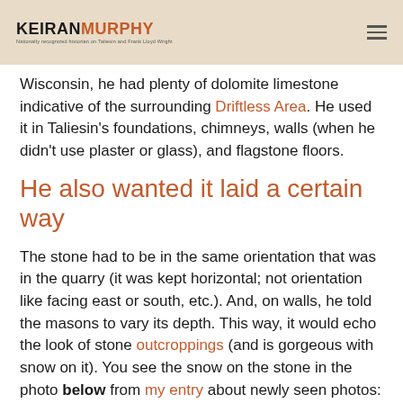KEIRAN MURPHY
Wisconsin, he had plenty of dolomite limestone indicative of the surrounding Driftless Area. He used it in Taliesin's foundations, chimneys, walls (when he didn't use plaster or glass), and flagstone floors.
He also wanted it laid a certain way
The stone had to be in the same orientation that was in the quarry (it was kept horizontal; not orientation like facing east or south, etc.). And, on walls, he told the masons to vary its depth. This way, it would echo the look of stone outcroppings (and is gorgeous with snow on it). You see the snow on the stone in the photo below from my entry about newly seen photos: